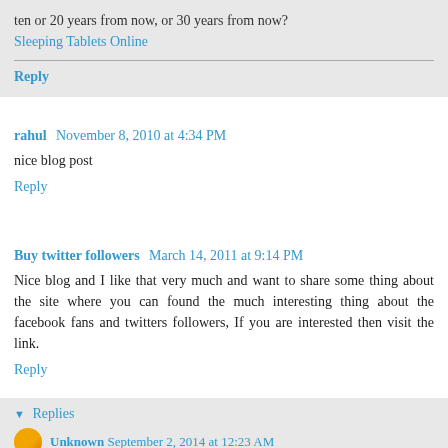ten or 20 years from now, or 30 years from now? Sleeping Tablets Online
Reply
rahul  November 8, 2010 at 4:34 PM
nice blog post
Reply
Buy twitter followers  March 14, 2011 at 9:14 PM
Nice blog and I like that very much and want to share some thing about the site where you can found the much interesting thing about the facebook fans and twitters followers, If you are interested then visit the link.
Reply
Replies
Unknown  September 2, 2014 at 12:23 AM